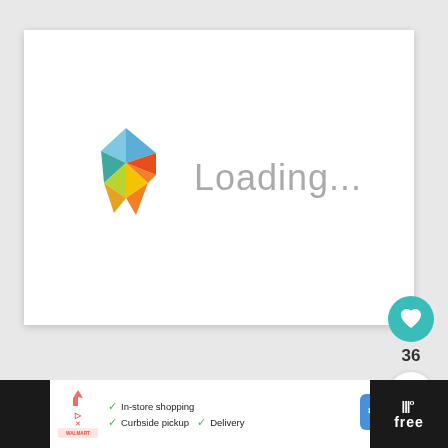[Figure (screenshot): Loading screen with colorful geometric logo and 'Loading...' text on white card]
[Figure (infographic): Teal heart button with count 36 and share button]
Recommended
[Figure (screenshot): WHAT'S NEXT arrow label with Dreena's Kind Kitchen: my... book thumbnail]
[Figure (screenshot): Advertisement bar with in-store shopping, curbside pickup, delivery checkmarks, navigation icon, and free app promotion]